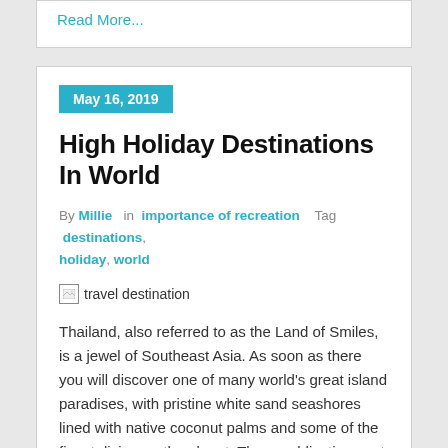Read More...
High Holiday Destinations In World
By Millie in importance of recreation Tag destinations, holiday, world
[Figure (photo): Broken image placeholder labeled 'travel destination']
Thailand, also referred to as the Land of Smiles, is a jewel of Southeast Asia. As soon as there you will discover one of many world's great island paradises, with pristine white sand seashores lined with native coconut palms and some of the finest diving on the planet. Three publications not too long ago named Buffalo as their favorite places visited in 2018 and top journey locations of 2019.